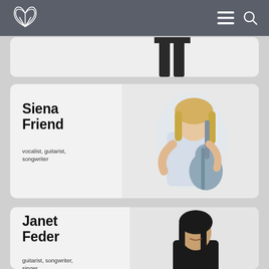Navigation header with lotus logo, menu icon, and search icon
[Figure (photo): Partial view of a person in dark pants, cropped at top of card]
Siena Friend
vocalist, guitarist, songwriter
[Figure (photo): Siena Friend holding a ukulele/small guitar, blonde woman in light blue shirt, white background]
Janet Feder
guitarist, songwriter, singer
[Figure (photo): Janet Feder smiling, dark-haired woman in black top, partial view]